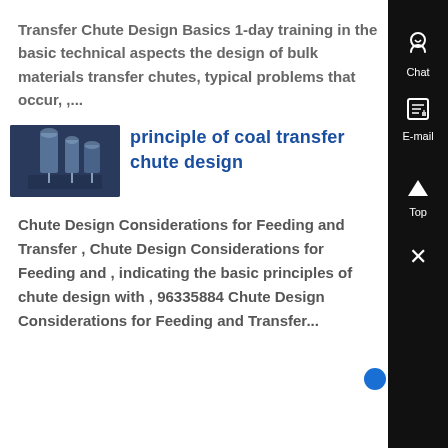Transfer Chute Design Basics 1-day training in the basic technical aspects the design of bulk materials transfer chutes, typical problems that occur, ,...
[Figure (photo): Thumbnail photo of industrial chute/silo equipment in a factory setting, dark blue-grey tones]
principle of coal transfer chute design
Chute Design Considerations for Feeding and Transfer , Chute Design Considerations for Feeding and , indicating the basic principles of chute design with , 96335884 Chute Design Considerations for Feeding and Transfer...